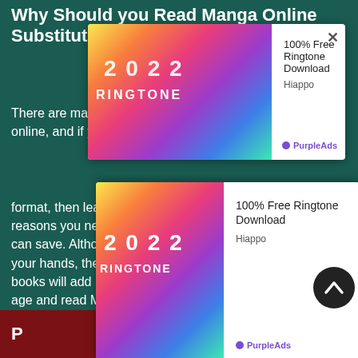Why Should you Read Manga Online Substituting?
There are many reasons you should read Manga online, and if you are familiar with this format, then learning about it is a must. One of the main reasons you need to read Manga online is the money you can save. Although there's nothing like holding a book in your hands, there's also no denying that the cost of those books will add up quickly. So why don't you enter the digital age and read Manga online? Another big reason to read Manga online is the huge amount of material available. When you go to a comic shop or other book store, their racks are limited to the space they have. When you visit a web site to read Manga, there are no such restrictions. And if you want the biggest collection and the best quality, then read Manga online. You
[Figure (screenshot): Advertisement popup: 100% Free Ringtone Download by Hiappo, PurpleAds, showing a colorful ringtone graphic with 2022 and RINGTONE text]
[Figure (screenshot): Second advertisement popup at bottom: 100% Free Ringtone Download by Hiappo, PurpleAds, with close button and colorful 2022 RINGTONE graphic]